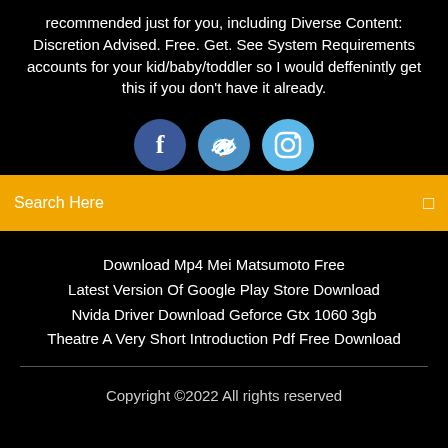recommended just for you, including Diverse Content: Discretion Advised. Free. Get. See System Requirements accounts for your kid/baby/toddler so I would deffenintly get this if you don't have it already.
[Figure (illustration): Three social media icon circles: Facebook (dark blue), Twitter (medium blue), Instagram (light blue), partially visible at bottom]
Search Here
Download Mp4 Mei Matsumoto Free
Latest Version Of Google Play Store Download
Nvida Driver Download Geforce Gtx 1060 3gb
Theatre A Very Short Introduction Pdf Free Download
Copyright ©2022 All rights reserved